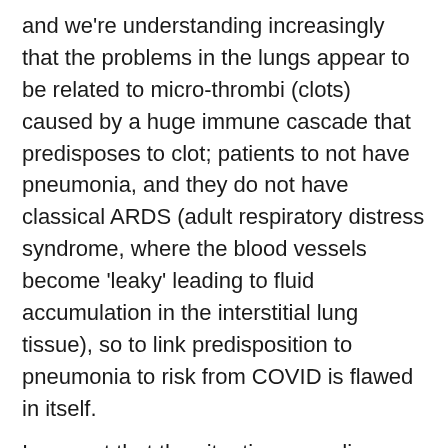and we're understanding increasingly that the problems in the lungs appear to be related to micro-thrombi (clots) caused by a huge immune cascade that predisposes to clot; patients to not have pneumonia, and they do not have classical ARDS (adult respiratory distress syndrome, where the blood vessels become 'leaky' leading to fluid accumulation in the interstitial lung tissue), so to link predisposition to pneumonia to risk from COVID is flawed in itself.
I suspect that the situation regarding these medications will become clearer in the coming months, but for now I am concerned that such articles will foster unfounded panic in members of the public – my mother, a worried non-medic, for example, was the one who sent this to me for my views. Patients abruptly stopping routine medications has the potential to cause more